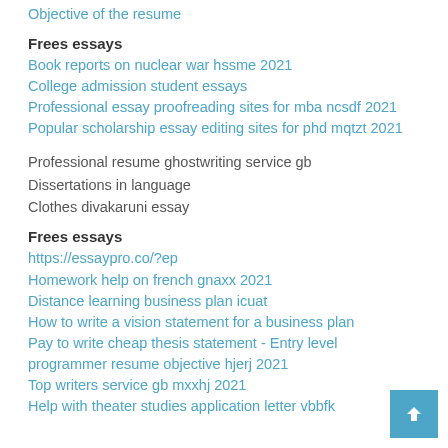Objective of the resume
Frees essays
Book reports on nuclear war hssme 2021
College admission student essays
Professional essay proofreading sites for mba ncsdf 2021
Popular scholarship essay editing sites for phd mqtzt 2021
Professional resume ghostwriting service gb
Dissertations in language
Clothes divakaruni essay
Frees essays
https://essaypro.co/?ep
Homework help on french gnaxx 2021
Distance learning business plan icuat
How to write a vision statement for a business plan
Pay to write cheap thesis statement - Entry level programmer resume objective hjerj 2021
Top writers service gb mxxhj 2021
Help with theater studies application letter vbbfk